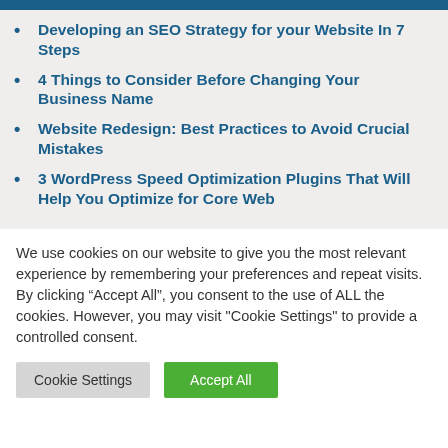Developing an SEO Strategy for your Website In 7 Steps
4 Things to Consider Before Changing Your Business Name
Website Redesign: Best Practices to Avoid Crucial Mistakes
3 WordPress Speed Optimization Plugins That Will Help You Optimize for Core Web
We use cookies on our website to give you the most relevant experience by remembering your preferences and repeat visits. By clicking “Accept All”, you consent to the use of ALL the cookies. However, you may visit "Cookie Settings" to provide a controlled consent.